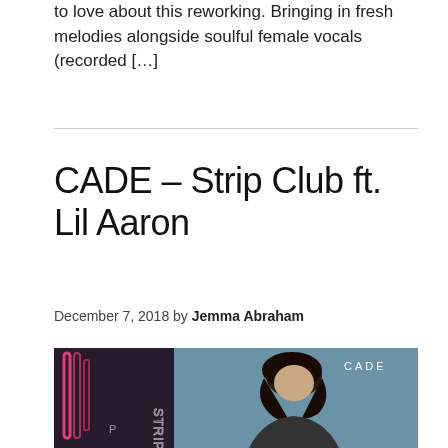to love about this reworking. Bringing in fresh melodies alongside soulful female vocals (recorded […]
CADE – Strip Club ft. Lil Aaron
December 7, 2018 by Jemma Abraham
[Figure (photo): Album cover art for CADE Strip Club ft. Lil Aaron. Left side shows neon pink 'STRIP' lettering on a dark background; right side shows a young man with dark hair against a blue background with 'CADE' text in white in the upper right corner.]